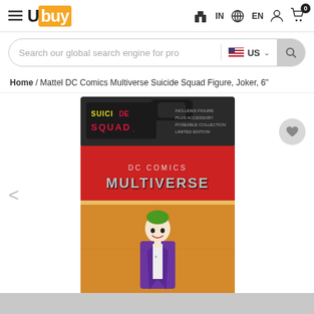Ubuy — IN | EN | 0
Search our global search engine for pro | US
Home / Mattel DC Comics Multiverse Suicide Squad Figure, Joker, 6"
[Figure (photo): Product photo of Mattel DC Comics Multiverse Suicide Squad Joker 6 inch action figure in packaging. The box shows 'Suicide Squad' logo at top, 'DC Comics Multiverse' branding on a red background, and the Joker figure wearing a purple jacket with green hair visible at the bottom.]